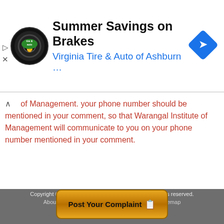[Figure (screenshot): Ad banner for Virginia Tire & Auto of Ashburn featuring a circular logo and navigation icon, with headline 'Summer Savings on Brakes' and subline 'Virginia Tire & Auto of Ashburn ...']
of Management. your phone number should be mentioned in your comment, so that Warangal Institute of Management will communicate to you on your phone number mentioned in your comment.
Copyright © 2022 allcustomercarenumbers.net. All rights reserved.
About Us  Privacy Policy  Contact Us  Sitemap
[Figure (other): Post Your Complaint button with pencil/notepad emoji]